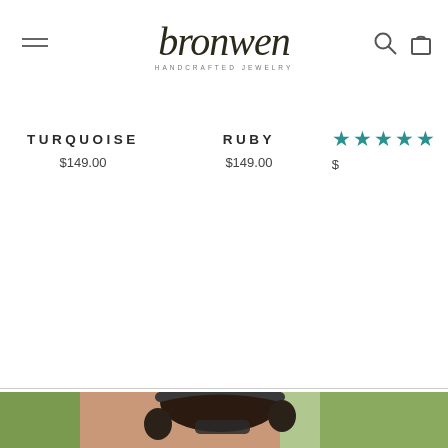bronwen HANDCRAFTED JEWELRY
TURQUOISE $149.00
RUBY $149.00
★★★★☆ $
[Figure (photo): Woman wearing headphones and sunglasses outdoors with tropical plants in background, wearing a black tank top with tattoos visible on her shoulder]